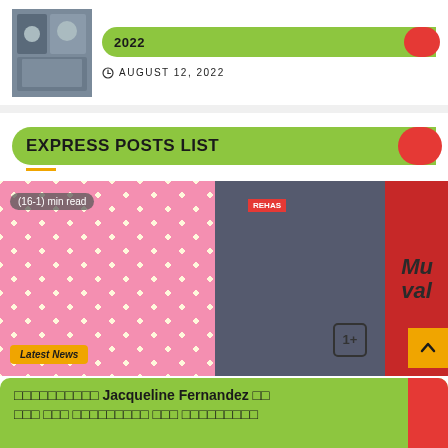[Figure (photo): Group photo of people at an event]
2022
AUGUST 12, 2022
EXPRESS POSTS LIST
[Figure (photo): Two women posing at an event - one in pink polka dot dress, one in dark skirt with furry jacket. OnePlus logo visible. 'REHAS' tag visible.]
(16-1) min read
Latest News
□□□□□□□□□□ Jacqueline Fernandez □□ □□□ □□□ □□□□□□□□□ □□□ □□□□□□□□□